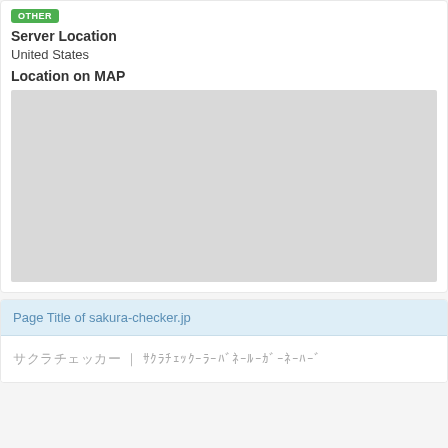OTHER
Server Location
United States
Location on MAP
[Figure (map): Gray placeholder map area showing server location]
Page Title of sakura-checker.jp
サクラチェッカー ｜ ｻｸﾗﾁｪｯｸｰﾗｰﾊﾞﾈｰﾙｰｶﾞｰﾈｰﾊｰﾞ